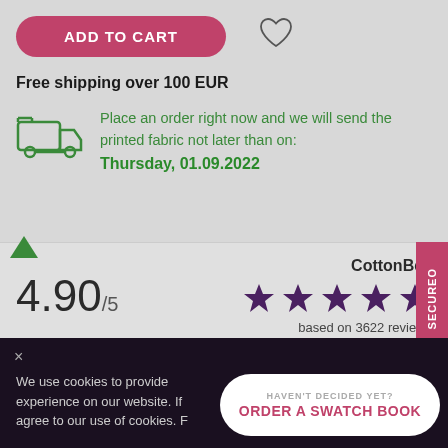[Figure (screenshot): Add to cart button (pink/red rounded rectangle) with heart icon to the right]
Free shipping over 100 EUR
Place an order right now and we will send the printed fabric not later than on:
Thursday, 01.09.2022
4.90/5
CottonBee
[Figure (other): Five purple star rating icons]
based on 3622 reviews
We use cookies to provide experience on our website. If agree to our use of cookies. F
HAVEN'T DECIDED YET?
ORDER A SWATCH BOOK